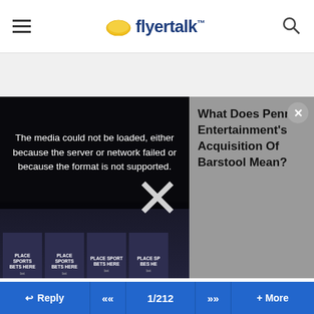[Figure (screenshot): FlyerTalk app header with hamburger menu, FlyerTalk logo (speech bubble icon + text), and search icon]
[Figure (screenshot): Embedded video player showing media error: 'The media could not be loaded, either because the server or network failed or because the format is not supported.' Overlaid on sports betting imagery with 'PLACE SPORTS BETS HERE' signage. Right side shows article title 'What Does Penn Entertainment's Acquisition Of Barstool Mean?' with a close button and large X dismiss overlay.]
#11
TrueBlueFlyer , Apr 29, 10 3:56 am
will try to meet people at least in NYC maybe elsewhere as
[Figure (screenshot): Bottom navigation bar with Reply, back (<<), page count 1/212, forward (>>), and More buttons]